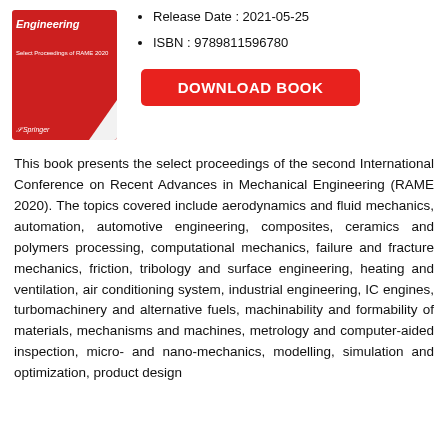[Figure (illustration): Book cover for 'Advances in Mechanical Engineering: Select Proceedings of RAME 2020', red cover with Springer logo]
Release Date : 2021-05-25
ISBN : 9789811596780
DOWNLOAD BOOK
This book presents the select proceedings of the second International Conference on Recent Advances in Mechanical Engineering (RAME 2020). The topics covered include aerodynamics and fluid mechanics, automation, automotive engineering, composites, ceramics and polymers processing, computational mechanics, failure and fracture mechanics, friction, tribology and surface engineering, heating and ventilation, air conditioning system, industrial engineering, IC engines, turbomachinery and alternative fuels, machinability and formability of materials, mechanisms and machines, metrology and computer-aided inspection, micro- and nano-mechanics, modelling, simulation and optimization, product design